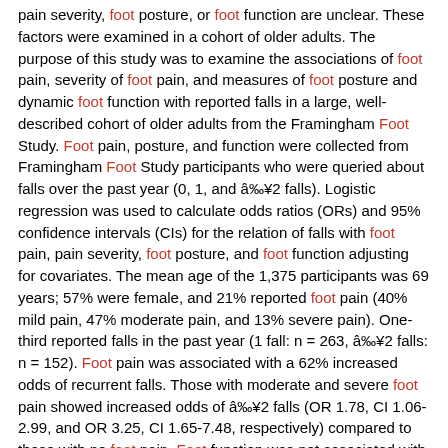pain severity, foot posture, or foot function are unclear. These factors were examined in a cohort of older adults. The purpose of this study was to examine the associations of foot pain, severity of foot pain, and measures of foot posture and dynamic foot function with reported falls in a large, well-described cohort of older adults from the Framingham Foot Study. Foot pain, posture, and function were collected from Framingham Foot Study participants who were queried about falls over the past year (0, 1, and â‰¥2 falls). Logistic regression was used to calculate odds ratios (ORs) and 95% confidence intervals (CIs) for the relation of falls with foot pain, pain severity, foot posture, and foot function adjusting for covariates. The mean age of the 1,375 participants was 69 years; 57% were female, and 21% reported foot pain (40% mild pain, 47% moderate pain, and 13% severe pain). One-third reported falls in the past year (1 fall: n = 263, â‰¥2 falls: n = 152). Foot pain was associated with a 62% increased odds of recurrent falls. Those with moderate and severe foot pain showed increased odds of â‰¥2 falls (OR 1.78, CI 1.06-2.99, and OR 3.25, CI 1.65-7.48, respectively) compared to those with no foot pain. Foot function was not associated with falls. Compared to normal foot posture, those with planus foot posture had 78% higher odds of â‰¥2 falls, tripling odds for one or more falls, and in individuals